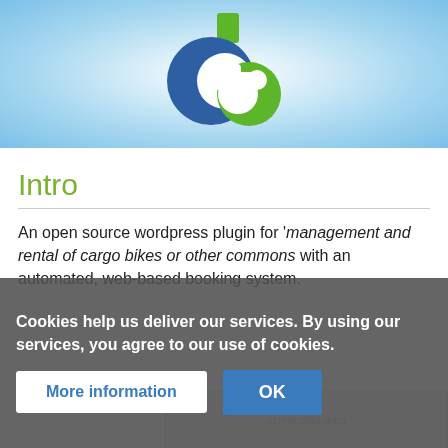[Figure (logo): CargoBike (cb) logo — blue letter C and green letter b combined into a circular logo mark with a green rectangular tab on top]
Intro
An open source wordpress plugin for 'management and rental of cargo bikes or other commons with an automated, web-based booking system.
On the
Cookies help us deliver our services. By using our services, you agree to our use of cookies.